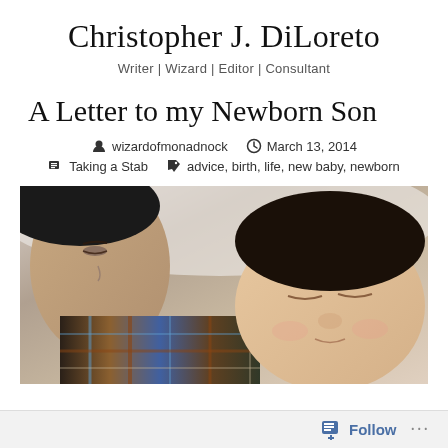Christopher J. DiLoreto
Writer | Wizard | Editor | Consultant
A Letter to my Newborn Son
wizardofmonadnock   March 13, 2014   Taking a Stab   advice, birth, life, new baby, newborn
[Figure (photo): Close-up photo of an adult and a sleeping newborn baby lying together. The adult is on the left side, and the newborn with dark hair is on the right, eyes closed peacefully.]
Follow  ...